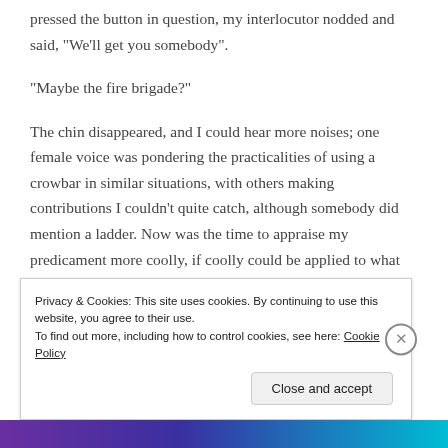pressed the button in question, my interlocutor nodded and said, "We'll get you somebody".
"Maybe the fire brigade?"
The chin disappeared, and I could hear more noises; one female voice was pondering the practicalities of using a crowbar in similar situations, with others making contributions I couldn't quite catch, although somebody did mention a ladder. Now was the time to appraise my predicament more coolly, if coolly could be applied to what was in effect an increasingly stuffy cage. I
Privacy & Cookies: This site uses cookies. By continuing to use this website, you agree to their use.
To find out more, including how to control cookies, see here: Cookie Policy